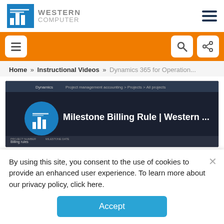[Figure (logo): Western Computer logo with blue bar chart icon and gray text reading WESTERN COMPUTER]
[Figure (screenshot): Screenshot of Western Computer website showing navigation header with orange bar, hamburger menu, search and share icons]
Home » Instructional Videos » Dynamics 365 for Operation...
[Figure (screenshot): Video thumbnail showing Milestone Billing Rule | Western ... video in a Dynamics 365 interface]
By using this site, you consent to the use of cookies to provide an enhanced user experience. To learn more about our privacy policy, click here.
Accept